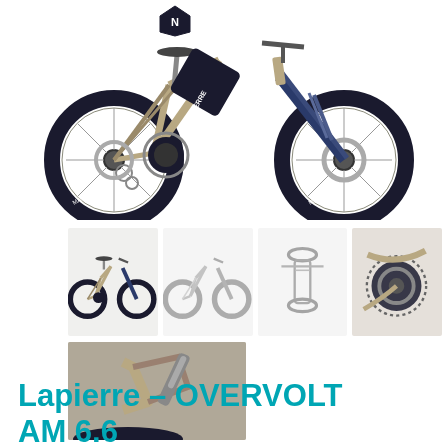[Figure (photo): Main product photo of a Lapierre OVERVOLT AM 6.6 electric mountain bike, sand/beige color with dark blue tires and fork, shown in full side profile on white background. A small diamond/badge icon appears top-left of the frame.]
[Figure (photo): Row of four thumbnail images: (1) full bike in color left-facing, (2) full bike in grey/ghosted right-facing, (3) overhead/bird's eye view of bike in grey, (4) close-up of the motor/drive chain area.]
[Figure (photo): Close-up detail photo of the bike's rear suspension linkage and frame area.]
Lapierre – OVERVOLT AM 6.6